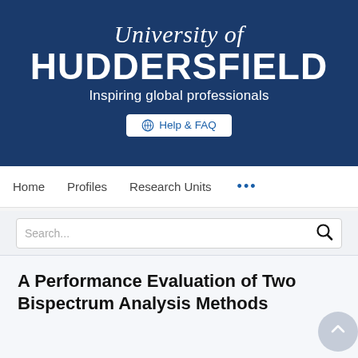[Figure (logo): University of Huddersfield logo and banner with text 'University of Huddersfield - Inspiring global professionals' on dark blue background, with Help & FAQ button]
Home   Profiles   Research Units   ...
Search...
A Performance Evaluation of Two Bispectrum Analysis Methods